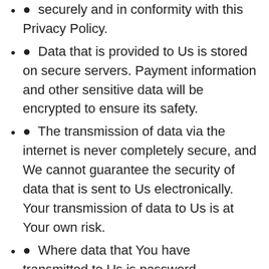securely and in conformity with this Privacy Policy.
• Data that is provided to Us is stored on secure servers. Payment information and other sensitive data will be encrypted to ensure its safety.
• The transmission of data via the internet is never completely secure, and We cannot guarantee the security of data that is sent to Us electronically. Your transmission of data to Us is at Your own risk.
• Where data that You have transmitted to Us is password protected, You are responsible for keeping the password confidential. You are exclusively responsible for any breaches of Your data that results from Your own disclosure of